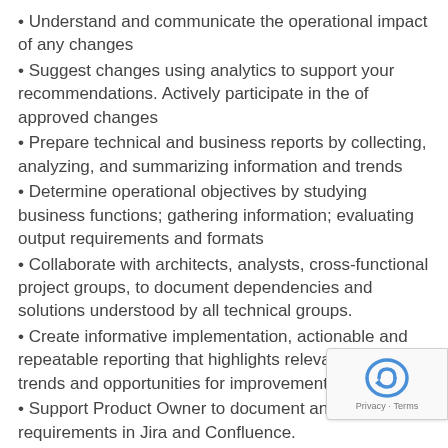• Understand and communicate the operational impact of any changes
• Suggest changes using analytics to support your recommendations. Actively participate in the of approved changes
• Prepare technical and business reports by collecting, analyzing, and summarizing information and trends
• Determine operational objectives by studying business functions; gathering information; evaluating output requirements and formats
• Collaborate with architects, analysts, cross-functional project groups, to document dependencies and solutions understood by all technical groups.
• Create informative implementation, actionable and repeatable reporting that highlights relevant business trends and opportunities for improvement
• Support Product Owner to document and manage requirements in Jira and Confluence.
• Support testing activities
• Create detailed, comprehensive and well-structured test